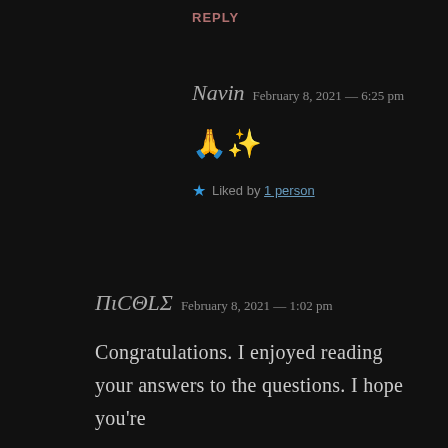REPLY
Navin  February 8, 2021 — 6:25 pm
🙏✨
★ Liked by 1 person
ΠιCΘLΣ  February 8, 2021 — 1:02 pm
Congratulations. I enjoyed reading your answers to the questions. I hope you're